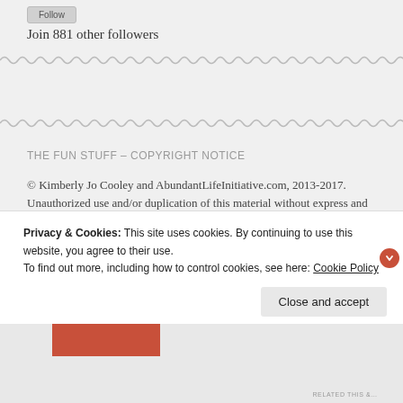Follow
Join 881 other followers
THE FUN STUFF – COPYRIGHT NOTICE
© Kimberly Jo Cooley and AbundantLifeInitiative.com, 2013-2017. Unauthorized use and/or duplication of this material without express and written permission from this blog's author and/or owner is strictly prohibited. Excerpts, photographs and
Privacy & Cookies: This site uses cookies. By continuing to use this website, you agree to their use.
To find out more, including how to control cookies, see here: Cookie Policy
Close and accept